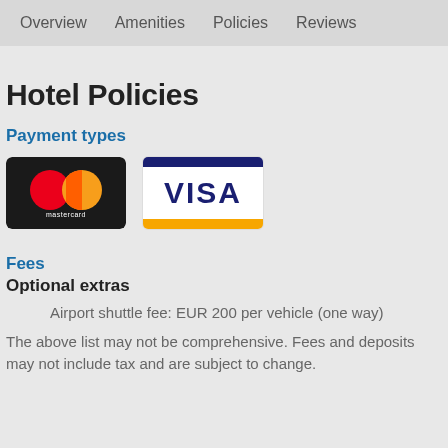Overview   Amenities   Policies   Reviews
Hotel Policies
Payment types
[Figure (logo): Mastercard logo and Visa logo side by side]
Fees
Optional extras
Airport shuttle fee: EUR 200 per vehicle (one way)
The above list may not be comprehensive. Fees and deposits may not include tax and are subject to change.